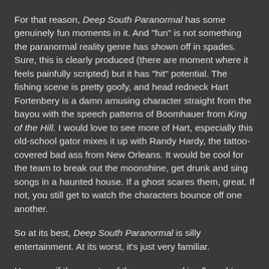For that reason, Deep South Paranormal has some genuinely fun moments in it. And "fun" is not something the paranormal reality genre has shown off in spades. Sure, this is clearly produced (there are moment where it feels painfully scripted) but it has "hit" potential. The fishing scene is pretty goofy, and head redneck Hart Fortenbery is a damn amusing character straight from the bayou with the speech patterns of Boomhauer from King of the Hill. I would love to see more of Hart, especially this old-school gator mixes it up with Randy Hardy, the tattoo-covered bad ass from New Orleans. It would be cool for the team to break out the moonshine, get drunk and sing songs in a haunted house. If a ghost scares them, great. If not, you still get to watch the characters bounce off one another.
So at its best, Deep South Paranormal is silly entertainment. At its worst, it's just very familiar.
However, if the specter of the paranormal is allowed to fade somewhat to the background -- with the audience getting more time with these Southern folks -- then darn tootin' I